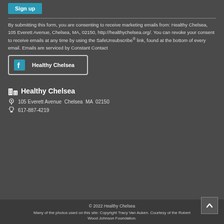Sign up
By submitting this form, you are consenting to receive marketing emails from: Healthy Chelsea, 105 Everett Avenue, Chelsea, MA, 02150, http://healthychelsea.org/. You can revoke your consent to receive emails at any time by using the SafeUnsubscribe® link, found at the bottom of every email. Emails are serviced by Constant Contact
[Figure (other): Facebook button linking to Healthy Chelsea page]
Healthy Chelsea
105 Everett Avenue Chelsea MA 02150
617-887-4219
© 2022 Healthy Chelsea
Many of the photos used on this site: Copyright Tracy Van Auken. Courtesy of the Robert Wood Johnson Foundation.